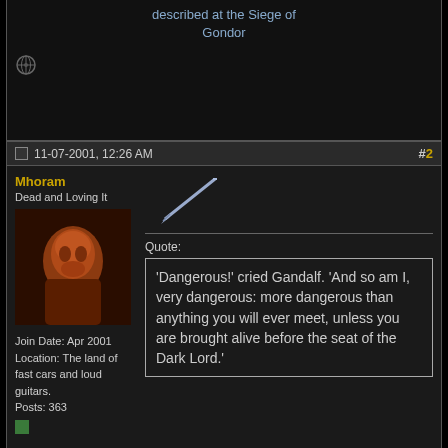described at the Siege of Gondor
#2 11-07-2001, 12:26 AM
Mhoram
Dead and Loving It
[Figure (photo): User avatar showing a person with reddish tones]
Join Date: Apr 2001
Location: The land of fast cars and loud guitars.
Posts: 363
[Figure (illustration): Sword/lightsaber diagonal icon]
Quote:
'Dangerous!' cried Gandalf. 'And so am I, very dangerous: more dangerous than anything you will ever meet, unless you are brought alive before the seat of the Dark Lord.'
#3 11-07-2001, 11:43 AM
haste
Pile O'Bones
[Figure (logo): Tolkien monogram/logo symbol]